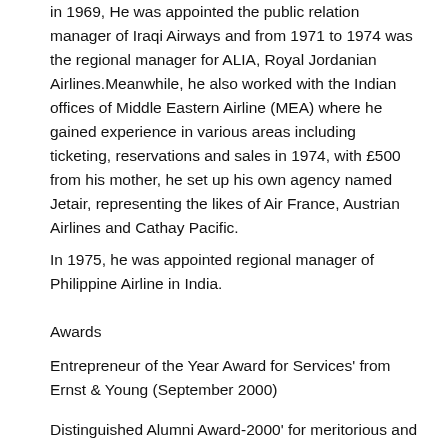in 1969, He was appointed the public relation manager of Iraqi Airways and from 1971 to 1974 was the regional manager for ALIA, Royal Jordanian Airlines.Meanwhile, he also worked with the Indian offices of Middle Eastern Airline (MEA) where he gained experience in various areas including ticketing, reservations and sales in 1974, with £500 from his mother, he set up his own agency named Jetair, representing the likes of Air France, Austrian Airlines and Cathay Pacific.
In 1975, he was appointed regional manager of Philippine Airline in India.
Awards
Entrepreneur of the Year Award for Services' from Ernst & Young (September 2000)
Distinguished Alumni Award-2000' for meritorious and